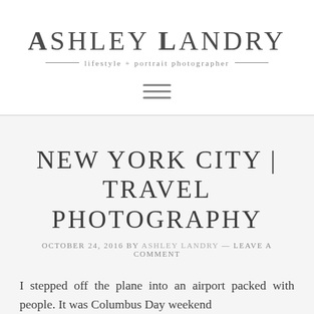ASHLEY LANDRY
lifestyle + portrait photographer
[Figure (other): Hamburger menu icon (three horizontal lines)]
NEW YORK CITY | TRAVEL PHOTOGRAPHY
OCTOBER 24, 2016 by ASHLEY LANDRY — LEAVE A COMMENT
I stepped off the plane into an airport packed with people. It was Columbus Day weekend